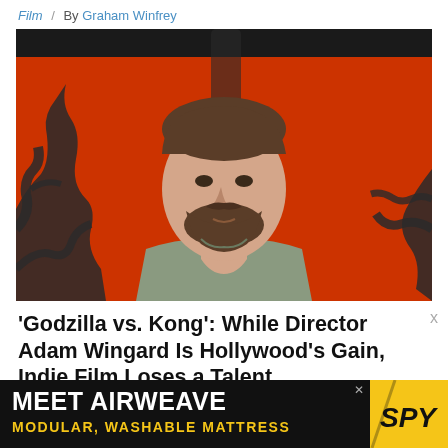Film / By Graham Winfrey
[Figure (photo): Man with beard and short brown hair wearing a grey t-shirt, posed in front of an orange-red background with dark silhouetted tree branch designs]
'Godzilla vs. Kong': While Director Adam Wingard Is Hollywood's Gain, Indie Film Loses a Talent
[Figure (infographic): Advertisement banner: MEET AIRWEAVE MODULAR, WASHABLE MATTRESS with SPY logo]